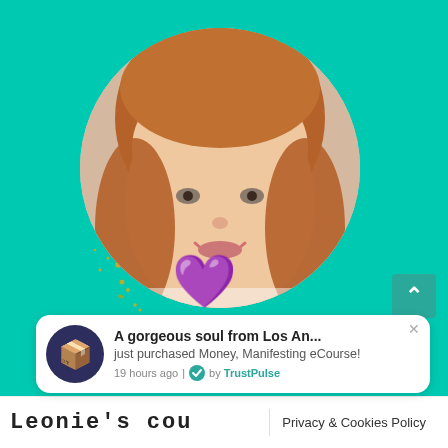[Figure (photo): Screenshot of a website with teal/turquoise background showing a circular portrait photo of a smiling woman with auburn hair, surrounded by gold glitter/sparkle effects. A pink heart emoji is overlaid near the bottom of the circle. A TrustPulse notification popup at the bottom reads 'A gorgeous soul from Los An... just purchased Money, Manifesting eCourse! 19 hours ago | by TrustPulse'. A teal scroll-to-top arrow button is visible at right. At the very bottom is a white bar with 'Leonie's cou' text and a 'Privacy & Cookies Policy' button.]
A gorgeous soul from Los An...
just purchased Money, Manifesting eCourse!
19 hours ago | by TrustPulse
Leonie's cou
Privacy & Cookies Policy